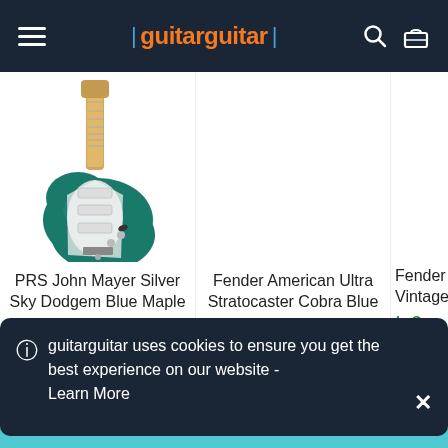guitarguitar
[Figure (photo): Teal/green PRS John Mayer Silver Sky electric guitar with maple neck and white pickguard]
PRS John Mayer Silver Sky Dodgem Blue Maple
In Stock
Fender American Ultra Stratocaster Cobra Blue
In Stock
Fender Cu Vintage C
In S
44
guitarguitar uses cookies to ensure you get the best experience on our website - Learn More